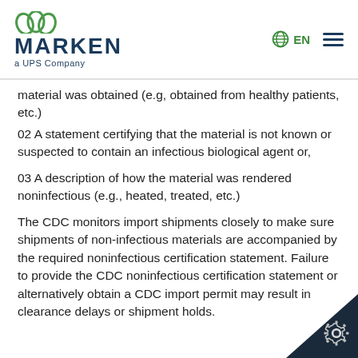MARKEN a UPS Company
material was obtained (e.g, obtained from healthy patients, etc.)
02 A statement certifying that the material is not known or suspected to contain an infectious biological agent or,
03 A description of how the material was rendered noninfectious (e.g., heated, treated, etc.)
The CDC monitors import shipments closely to make sure shipments of non-infectious materials are accompanied by the required noninfectious certification statement. Failure to provide the CDC noninfectious certification statement or alternatively obtain a CDC import permit may result in clearance delays or shipment holds.